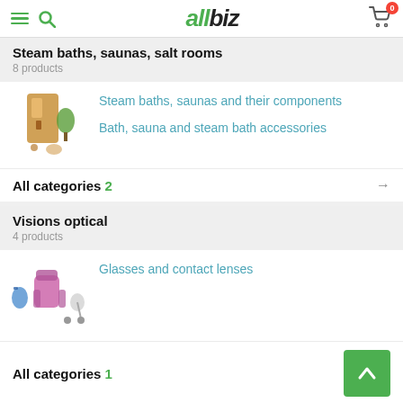allbiz
Steam baths, saunas, salt rooms
8 products
Steam baths, saunas and their components
Bath, sauna and steam bath accessories
All categories 2
Visions optical
4 products
Glasses and contact lenses
All categories 1
Equipment for cosmetics production
1 products